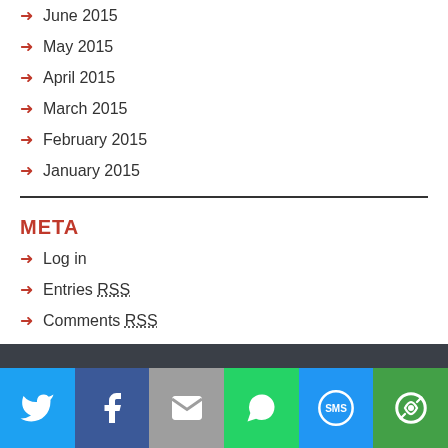June 2015
May 2015
April 2015
March 2015
February 2015
January 2015
META
Log in
Entries RSS
Comments RSS